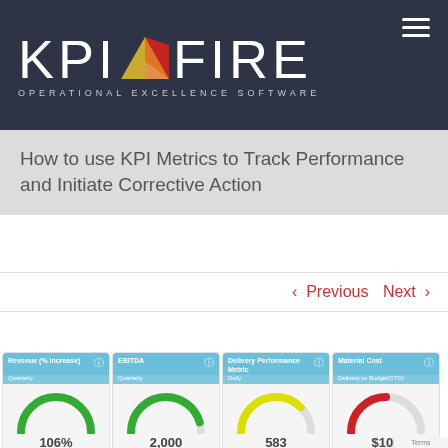[Figure (logo): KPI Fire logo with triangular flame graphic and tagline 'OPERATIONAL EXCELLENCE SOFTWARE' on dark navy background]
How to use KPI Metrics to Track Performance and Initiate Corrective Action
< Previous   Next >
[Figure (screenshot): Dashboard showing four KPI gauge dials: Revenue (% Increase) 106% / 100.96% of 108%, EBITDA 2,000 / 98.01% of 2,200, Delivery Performance Metric 583 / 75.71% of 770 (yellow gauge), Material Cost $100 / 50% of $200 (red gauge)]